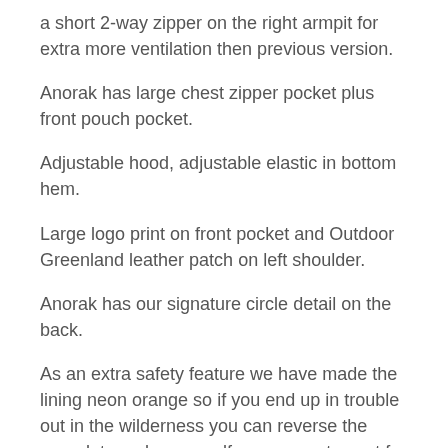a short 2-way zipper on the right armpit for extra more ventilation then previous version.
Anorak has large chest zipper pocket plus front pouch pocket.
Adjustable hood, adjustable elastic in bottom hem.
Large logo print on front pocket and Outdoor Greenland leather patch on left shoulder.
Anorak has our signature circle detail on the back.
As an extra safety feature we have made the lining neon orange so if you end up in trouble out in the wilderness you can reverse the anorak to make yourself more easy to spot for Search And Rescue teams.
For men the anorak fits true to size, but for women we recommend to go down one size since it fits a little big for